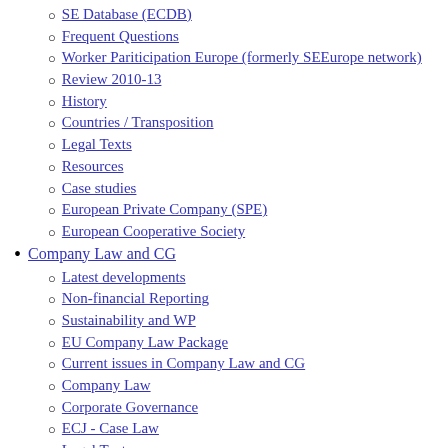SE Database (ECDB)
Frequent Questions
Worker Pariticipation Europe (formerly SEEurope network)
Review 2010-13
History
Countries / Transposition
Legal Texts
Resources
Case studies
European Private Company (SPE)
European Cooperative Society
Company Law and CG
Latest developments
Non-financial Reporting
Sustainability and WP
EU Company Law Package
Current issues in Company Law and CG
Company Law
Corporate Governance
ECJ - Case Law
Legal Texts
GoodCorp Network
WP and Sustainability
EU Framework for I-C-P